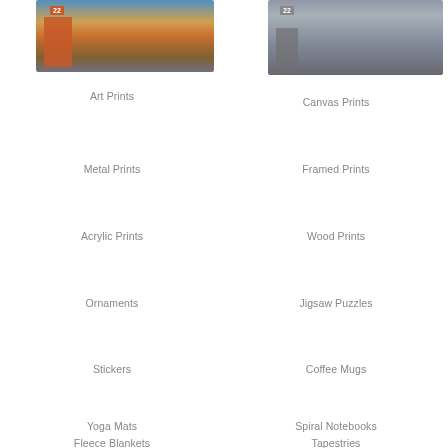[Figure (photo): Lifeguard tower #22 on a beach at sunset with colorful sky and pier in background, warm orange tones]
[Figure (photo): Lifeguard tower #22 on a beach, black and white/desaturated photo, pier in background]
Art Prints
Canvas Prints
Metal Prints
Framed Prints
Acrylic Prints
Wood Prints
Ornaments
Jigsaw Puzzles
Stickers
Coffee Mugs
Yoga Mats
Spiral Notebooks
Fleece Blankets
Tapestries